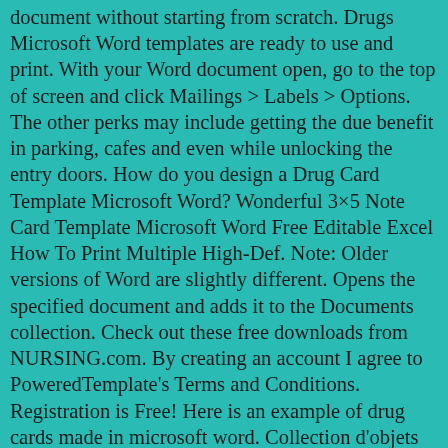document without starting from scratch. Drugs Microsoft Word templates are ready to use and print. With your Word document open, go to the top of screen and click Mailings > Labels > Options. The other perks may include getting the due benefit in parking, cafes and even while unlocking the entry doors. How do you design a Drug Card Template Microsoft Word? Wonderful 3×5 Note Card Template Microsoft Word Free Editable Excel How To Print Multiple High-Def. Note: Older versions of Word are slightly different. Opens the specified document and adds it to the Documents collection. Check out these free downloads from NURSING.com. By creating an account I agree to PoweredTemplate's Terms and Conditions. Registration is Free! Here is an example of drug cards made in microsoft word. Collection d'objets template qui représentent tous les modèles actuellement disponibles. (document.getElementsByTagName('head')[0] || document.getElementsByTagName('body')[0]).appendChild(hs); All of us know how important it is to find the necessary Word template which will be attractive, affordable and colorful. Check out our Business Drug Card Template Microsoft Word for Fast and Easy Editing. Download Drugs Word templates designs today. To see them in Word or Publisher, click File > New and search for labels or business cards. I am reviewing and preparing myself and I recalled hand writing drug cards. I was in a nursing program back in 2005/2006 but had to drop out due to family issues. Renvoie un objet Document. It can save me a tremendous amount of time...